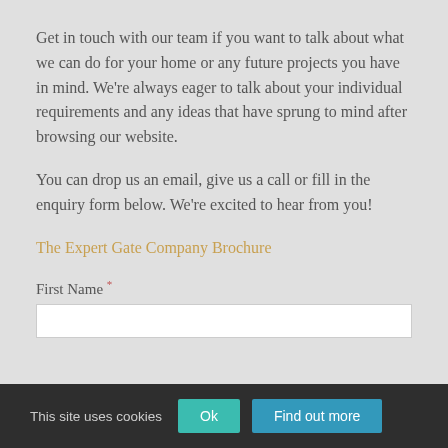Get in touch with our team if you want to talk about what we can do for your home or any future projects you have in mind. We're always eager to talk about your individual requirements and any ideas that have sprung to mind after browsing our website.
You can drop us an email, give us a call or fill in the enquiry form below. We're excited to hear from you!
The Expert Gate Company Brochure
First Name *
This site uses cookies  Ok  Find out more